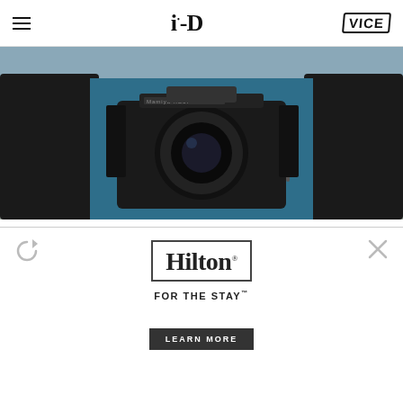i-D | VICE
[Figure (photo): Person in a black leather jacket holding a large medium-format Mamiya camera up to their face, photographed against a beach/ocean background]
we're fans not critics.
sign up for i-d's regular newsletter updates.
[Figure (other): Hilton advertisement with Hilton logo in a rectangle border and text FOR THE STAY with a LEARN MORE button]